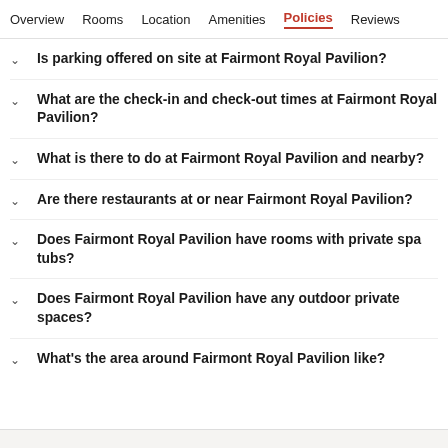Overview  Rooms  Location  Amenities  Policies  Reviews
Is parking offered on site at Fairmont Royal Pavilion?
What are the check-in and check-out times at Fairmont Royal Pavilion?
What is there to do at Fairmont Royal Pavilion and nearby?
Are there restaurants at or near Fairmont Royal Pavilion?
Does Fairmont Royal Pavilion have rooms with private spa tubs?
Does Fairmont Royal Pavilion have any outdoor private spaces?
What's the area around Fairmont Royal Pavilion like?